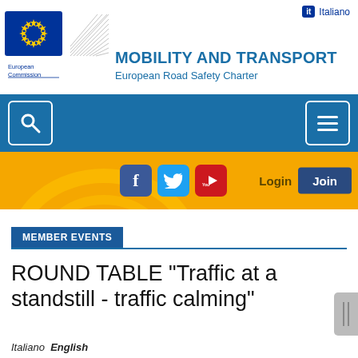MOBILITY AND TRANSPORT | European Road Safety Charter | Italiano
[Figure (screenshot): European Commission logo with flag and building graphic]
[Figure (screenshot): Navigation bar with search icon and menu (hamburger) icon on blue background]
[Figure (screenshot): Social media bar with Facebook, Twitter, YouTube icons, Login text, and Join button on yellow/gold background with road arc decoration]
MEMBER EVENTS
ROUND TABLE "Traffic at a standstill - traffic calming"
Italiano   English